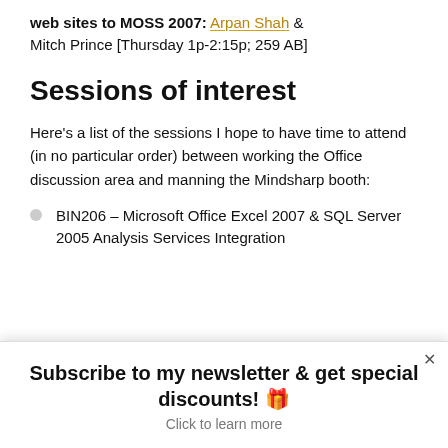web sites to MOSS 2007: Arpan Shah & Mitch Prince [Thursday 1p-2:15p; 259 AB]
Sessions of interest
Here's a list of the sessions I hope to have time to attend (in no particular order) between working the Office discussion area and manning the Mindsharp booth:
BIN206 – Microsoft Office Excel 2007 & SQL Server 2005 Analysis Services Integration
Subscribe to my newsletter & get special discounts! 🎁
Click to learn more